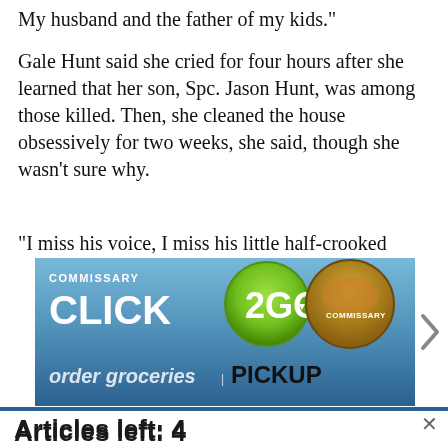My husband and the father of my kids.”
Gale Hunt said she cried for four hours after she learned that her son, Spc. Jason Hunt, was among those killed. Then, she cleaned the house obsessively for two weeks, she said, though she wasn’t sure why.
“I miss his voice, I miss his little half-crooked
[Figure (screenshot): Advertisement banner for Commissary Click2Go service showing green logo, commissary badge, and partial text 'order groceries | PICKUP']
Articles left: 4
Subscribe to get unlimited access  Subscribe
Already have an account?  Login here